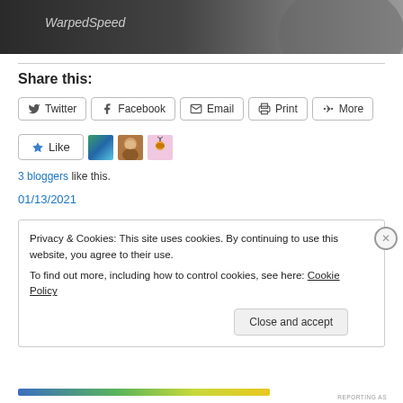[Figure (photo): Top banner image with WarpedSpeed text in italic over a dark background]
Share this:
[Figure (screenshot): Row of share buttons: Twitter, Facebook, Email, Print, More]
[Figure (screenshot): Like button with star icon and 3 blogger avatars]
3 bloggers like this.
01/13/2021
Privacy & Cookies: This site uses cookies. By continuing to use this website, you agree to their use.
To find out more, including how to control cookies, see here: Cookie Policy
Close and accept